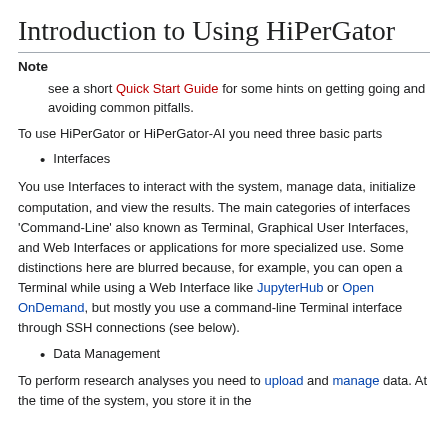Introduction to Using HiPerGator
Note
see a short Quick Start Guide for some hints on getting going and avoiding common pitfalls.
To use HiPerGator or HiPerGator-AI you need three basic parts
Interfaces
You use Interfaces to interact with the system, manage data, initialize computation, and view the results. The main categories of interfaces 'Command-Line' also known as Terminal, Graphical User Interfaces, and Web Interfaces or applications for more specialized use. Some distinctions here are blurred because, for example, you can open a Terminal while using a Web Interface like JupyterHub or Open OnDemand, but mostly you use a command-line Terminal interface through SSH connections (see below).
Data Management
To perform research analyses you need to upload and manage data. At the time of the system, you store it in the...